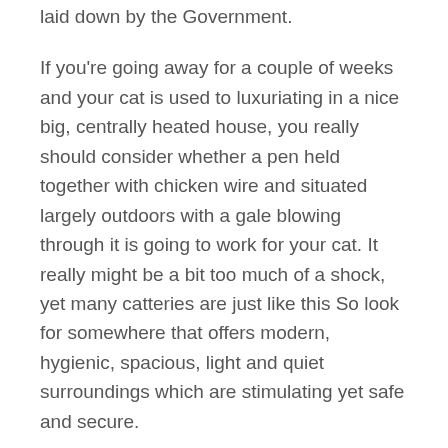laid down by the Government.
If you're going away for a couple of weeks and your cat is used to luxuriating in a nice big, centrally heated house, you really should consider whether a pen held together with chicken wire and situated largely outdoors with a gale blowing through it is going to work for your cat. It really might be a bit too much of a shock, yet many catteries are just like this So look for somewhere that offers modern, hygienic, spacious, light and quiet surroundings which are stimulating yet safe and secure.
Since your cat will be spending quite a bit of time in his or her new suite, it's important that there are sufficient activities available to keep them stimulated. So, make sure that there is a cat tree, toys and ideally a bed they can sleep on but also snuggle into plus comfy blankets which cats enjoy while sitting.